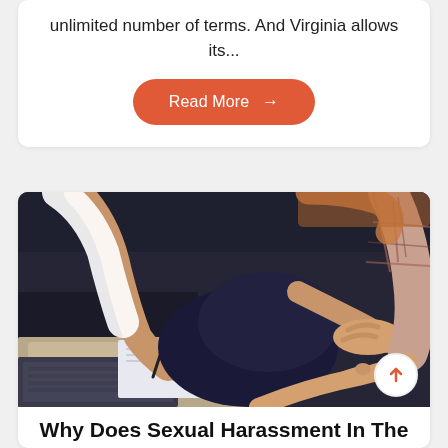unlimited number of terms. And Virginia allows its...
Read More →
[Figure (photo): Two people sitting close together: a woman in a white shirt writing on paper near a laptop, and a man in a plaid shirt placing his hand on her knee and pointing at the paper — depicting workplace sexual harassment.]
Why Does Sexual Harassment In The Workplace Often Go Unreported?